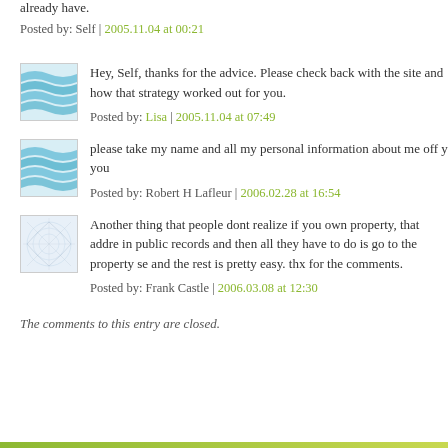already have.
Posted by: Self | 2005.11.04 at 00:21
[Figure (illustration): Blue wavy lines avatar thumbnail]
Hey, Self, thanks for the advice. Please check back with the site and how that strategy worked out for you.
Posted by: Lisa | 2005.11.04 at 07:49
[Figure (illustration): Blue wavy lines avatar thumbnail]
please take my name and all my personal information about me off y you
Posted by: Robert H Lafleur | 2006.02.28 at 16:54
[Figure (illustration): Abstract fractal lines avatar thumbnail]
Another thing that people dont realize if you own property, that addre in public records and then all they have to do is go to the property se and the rest is pretty easy. thx for the comments.
Posted by: Frank Castle | 2006.03.08 at 12:30
The comments to this entry are closed.